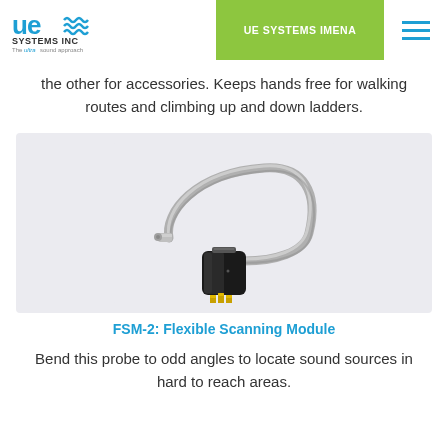UE SYSTEMS IMENA
the other for accessories. Keeps hands free for walking routes and climbing up and down ladders.
[Figure (photo): FSM-2 Flexible Scanning Module: a flexible metallic gooseneck probe with a cylindrical black body connector with gold pins at the bottom.]
FSM-2: Flexible Scanning Module
Bend this probe to odd angles to locate sound sources in hard to reach areas.